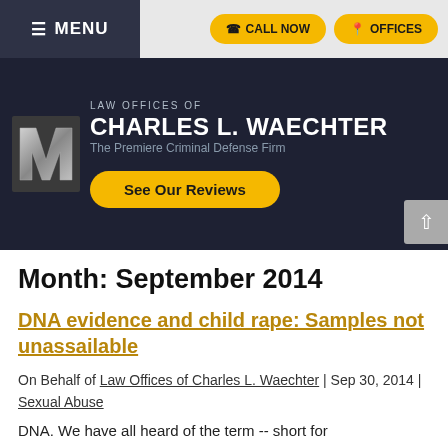≡ MENU | CALL NOW | OFFICES
[Figure (logo): Law Offices of Charles L. Waechter logo banner with silver W monogram on dark navy background. Text reads: LAW OFFICES OF CHARLES L. WAECHTER — The Premiere Criminal Defense Firm. Yellow button: See Our Reviews.]
Month: September 2014
DNA evidence and child rape: Samples not unassailable
On Behalf of Law Offices of Charles L. Waechter | Sep 30, 2014 | Sexual Abuse
DNA. We have all heard of the term -- short for